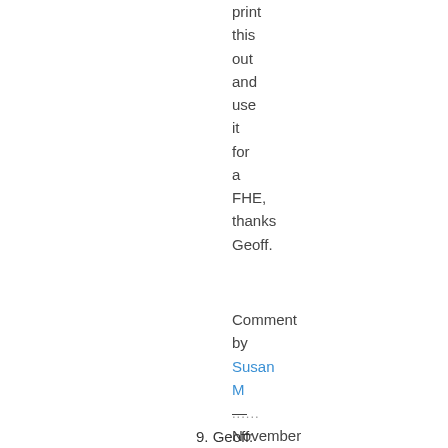print
this
out
and
use
it
for
a
FHE,
thanks
Geoff.
Comment
by
Susan M
—
November
16,
2005
@
8:54
am
......
9. Geoff:
You